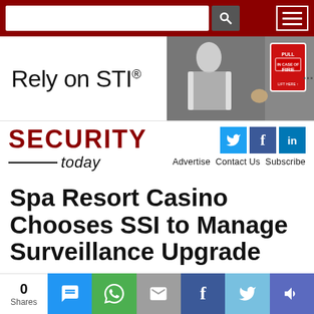Security Today website header with search box and menu
[Figure (photo): Advertisement banner for STI (Safety Technology International) showing 'Rely on STI®' text on left side and photo of a person near a fire alarm pull station on right side]
SECURITY today — Advertise  Contact Us  Subscribe — social icons: Twitter, Facebook, LinkedIn
Spa Resort Casino Chooses SSI to Manage Surveillance Upgrade
Jul 10, 2013
0 Shares — share buttons: SMS, WhatsApp, Email, Facebook, Twitter, More